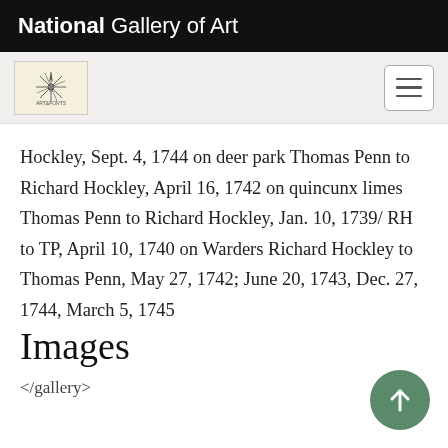National Gallery of Art
[Figure (logo): Navigation bar with NGA starburst logo on left and hamburger menu button on right, on a light grey background]
Hockley, Sept. 4, 1744 on deer park Thomas Penn to Richard Hockley, April 16, 1742 on quincunx limes Thomas Penn to Richard Hockley, Jan. 10, 1739/ RH to TP, April 10, 1740 on Warders Richard Hockley to Thomas Penn, May 27, 1742; June 20, 1743, Dec. 27, 1744, March 5, 1745
Images
</gallery>